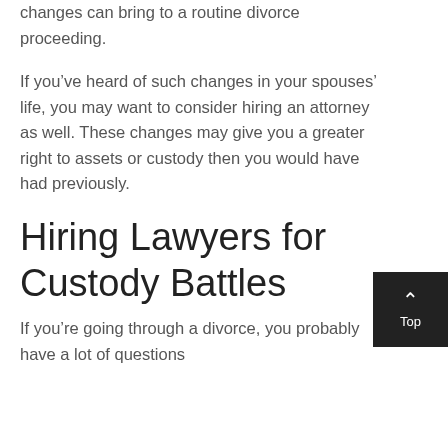changes can bring to a routine divorce proceeding.
If you’ve heard of such changes in your spouses’ life, you may want to consider hiring an attorney as well. These changes may give you a greater right to assets or custody then you would have had previously.
Hiring Lawyers for Custody Battles
If you’re going through a divorce, you probably have a lot of questions